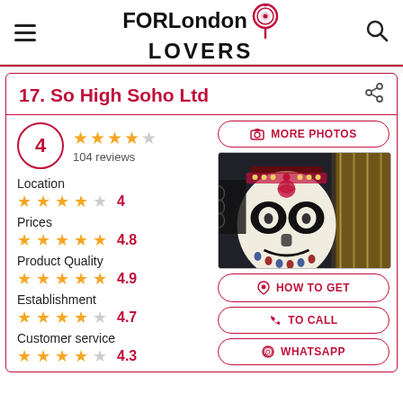FORLondon LOVERS
17. So High Soho Ltd
4 ★★★★☆ 104 reviews
Location ★★★★☆ 4
Prices ★★★★★ 4.8
Product Quality ★★★★★ 4.9
Establishment ★★★★☆ 4.7
Customer service
[Figure (photo): Photo of a Day of the Dead style mask with decorative beaded headdress against glittery background]
MORE PHOTOS
HOW TO GET
TO CALL
WHATSAPP